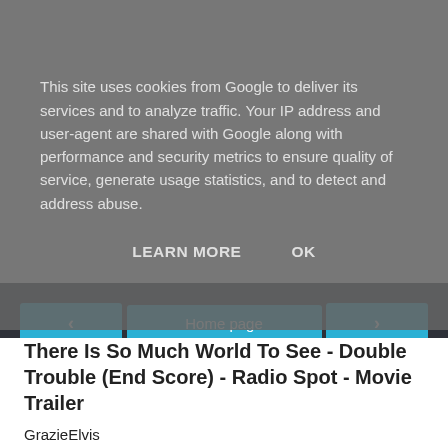This site uses cookies from Google to deliver its services and to analyze traffic. Your IP address and user-agent are shared with Google along with performance and security metrics to ensure quality of service, generate usage statistics, and to detect and address abuse.
LEARN MORE   OK
There Is So Much World To See - Double Trouble (End Score) - Radio Spot - Movie Trailer
GrazieElvis
Condividi
‹   Home page   ›   Visualizza versione web   Powered by Blogger.